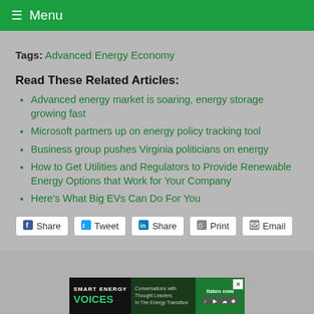☰ Menu
Tags: Advanced Energy Economy
Read These Related Articles:
Advanced energy market is soaring, energy storage growing fast
Microsoft partners up on energy policy tracking tool
Business group pushes Virginia politicians on energy
How to Get Utilities and Regulators to Provide Renewable Energy Options that Work for Your Company
Here's What Big EVs Can Do For You
Share  Tweet  Share  Print  Email
[Figure (screenshot): Smart Energy Voices advertisement banner with podcast info]